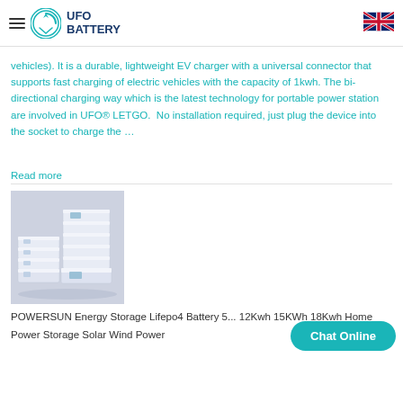UFO BATTERY
vehicles). It is a durable, lightweight EV charger with a universal connector that supports fast charging of electric vehicles with the capacity of 1kwh. The bi-directional charging way which is the latest technology for portable power station are involved in UFO® LETGO.  No installation required, just plug the device into the socket to charge the …
Read more
[Figure (photo): Stacked modular home energy storage battery units, white/grey colored boxes arranged in ascending stacks on a light grey background]
POWERSUN Energy Storage Lifepo4 Battery 5... 12Kwh 15KWh 18Kwh Home Power Storage Solar Wind Power